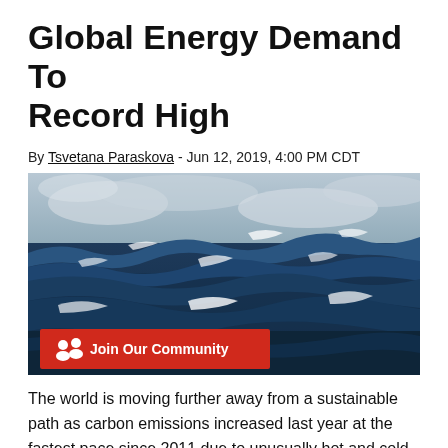Global Energy Demand To Record High
By Tsvetana Paraskova - Jun 12, 2019, 4:00 PM CDT
[Figure (photo): Ocean waves with dark blue water and whitecaps, overcast sky. A red 'Join Our Community' button overlay appears in the lower-left of the image.]
The world is moving further away from a sustainable path as carbon emissions increased last year at the fastest pace since 2011 due to unusually hot and cold spells in many parts of the world that drove a rise in energy use.
This was one of the key messages in the 2019 BP